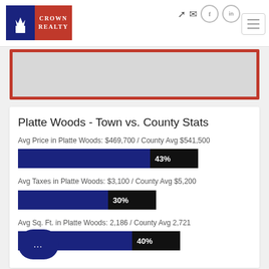[Figure (logo): Crown Realty logo — dark blue left panel with white crown graphic, red right panel with white text 'CROWN REALTY']
[Figure (screenshot): Navigation icons: login arrow, email envelope, Facebook circle, LinkedIn circle, hamburger menu button]
[Figure (photo): Red/dark hero banner image area]
Platte Woods - Town vs. County Stats
Avg Price in Platte Woods: $469,700 / County Avg $541,500
[Figure (bar-chart): Avg Price bar]
Avg Taxes in Platte Woods: $3,100 / County Avg $5,200
[Figure (bar-chart): Avg Taxes bar]
Avg Sq. Ft. in Platte Woods: 2,186 / County Avg 2,721
[Figure (bar-chart): Avg Sq Ft bar]